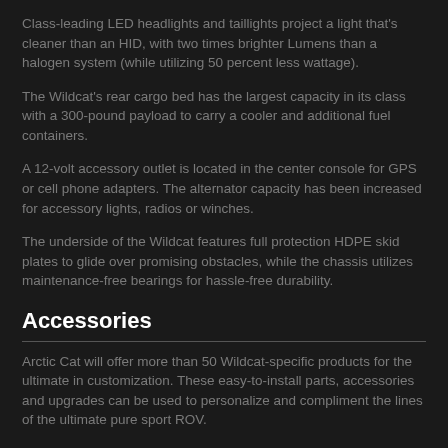Class-leading LED headlights and taillights project a light that's cleaner than an HID, with two times brighter Lumens than a halogen system (while utilizing 50 percent less wattage).
The Wildcat's rear cargo bed has the largest capacity in its class with a 300-pound payload to carry a cooler and additional fuel containers.
A 12-volt accessory outlet is located in the center console for GPS or cell phone adapters. The alternator capacity has been increased for accessory lights, radios or winches.
The underside of the Wildcat features full protection HDPE skid plates to glide over promising obstacles, while the chassis utilizes maintenance-free bearings for hassle-free durability.
Accessories
Arctic Cat will offer more than 50 Wildcat-specific products for the ultimate in customization. These easy-to-install parts, accessories and upgrades can be used to personalize and compliment the lines of the ultimate pure sport ROV.
An array of thick lightweight aluminum protective accessories will be available, like front and rear pre-runner bumpers, rock sliders, A-arm guards and skid plates.